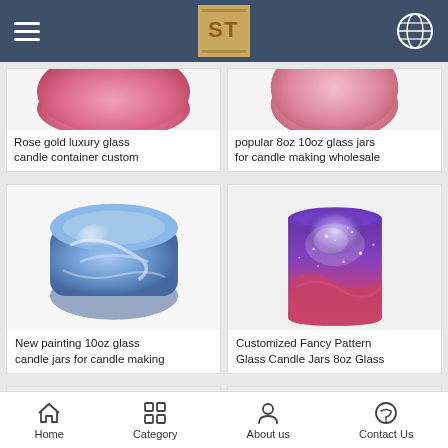Navigation bar with hamburger menu, ST logo, and globe icon
[Figure (photo): Partially visible rose gold luxury glass candle container, pink metallic color, cropped at top]
Rose gold luxury glass candle container custom
[Figure (photo): Partially visible popular 8oz 10oz glass jars for candle making, pink/purple color, cropped at top]
popular 8oz 10oz glass jars for candle making wholesale
[Figure (photo): Blue marbled glass candle jar lying on its side on white background]
New painting 10oz glass candle jars for candle making
[Figure (photo): Galaxy pattern glass candle jar with purple and pink nebula design on white background]
Customized Fancy Pattern Glass Candle Jars 8oz Glass
[Figure (photo): Partially visible product card at bottom left, content cropped]
[Figure (photo): Partially visible product card at bottom right, content cropped]
Home   Category   About us   Contact Us